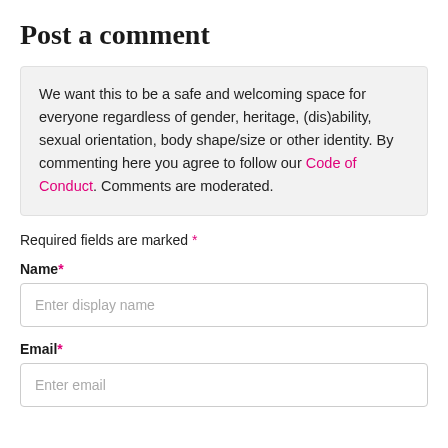Post a comment
We want this to be a safe and welcoming space for everyone regardless of gender, heritage, (dis)ability, sexual orientation, body shape/size or other identity. By commenting here you agree to follow our Code of Conduct. Comments are moderated.
Required fields are marked *
Name*
Enter display name
Email*
Enter email